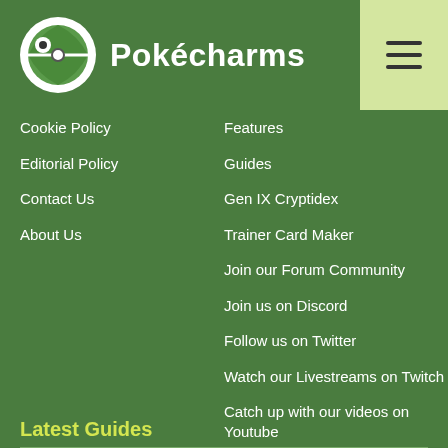Pokécharms
Cookie Policy
Editorial Policy
Contact Us
About Us
Features
Guides
Gen IX Cryptidex
Trainer Card Maker
Join our Forum Community
Join us on Discord
Follow us on Twitter
Watch our Livestreams on Twitch
Catch up with our videos on Youtube
Latest Guides